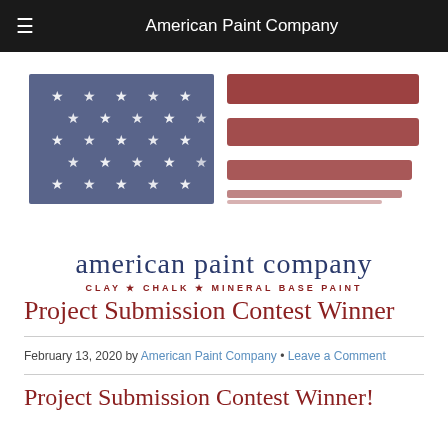American Paint Company
[Figure (logo): American Paint Company logo: distressed American flag with blue canton and white stars on left, red stripes on right, with 'american paint company' text below and 'CLAY ★ CHALK ★ MINERAL BASE PAINT' tagline]
Project Submission Contest Winner
February 13, 2020 by American Paint Company • Leave a Comment
Project Submission Contest Winner!